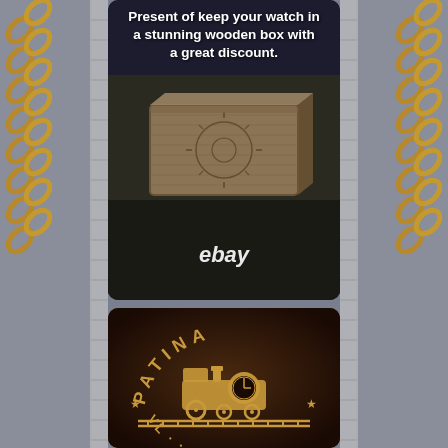[Figure (photo): Left decorative strip showing gold chain links on grey fabric background]
[Figure (photo): Top center product image: wooden engraved watch box with text overlay 'Present of keep your watch in a stunning wooden box with a great discount.' and eBay watermark. Background is dark with wooden box displayed on dark cloth.]
[Figure (logo): Bottom center image: PATINA brand logo engraved/gilded on dark background, featuring a steam train with a clock face and stars, text reads 'PATINA' arched above and additional text below.]
[Figure (photo): Right decorative strip showing gold chain links on grey fabric background]